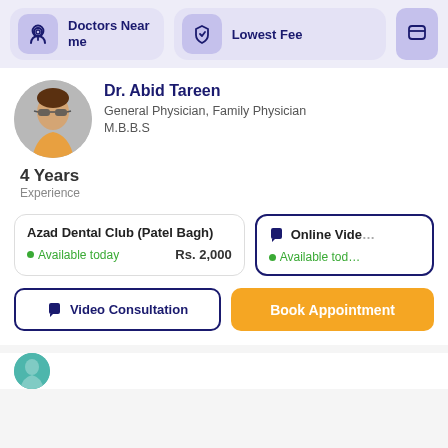Doctors Near me | Lowest Fee
Dr. Abid Tareen
General Physician, Family Physician
M.B.B.S
4 Years
Experience
Azad Dental Club (Patel Bagh)
Available today    Rs. 2,000
Online Vide
Available tod
Video Consultation
Book Appointment